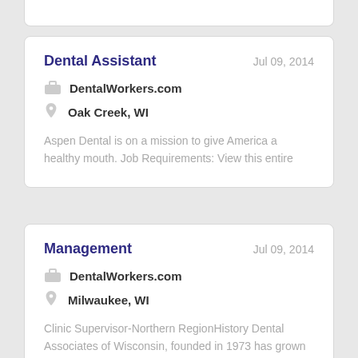Dental Assistant
Jul 09, 2014
DentalWorkers.com
Oak Creek, WI
Aspen Dental is on a mission to give America a healthy mouth. Job Requirements: View this entire
Management
Jul 09, 2014
DentalWorkers.com
Milwaukee, WI
Clinic Supervisor-Northern RegionHistory Dental Associates of Wisconsin, founded in 1973 has grown